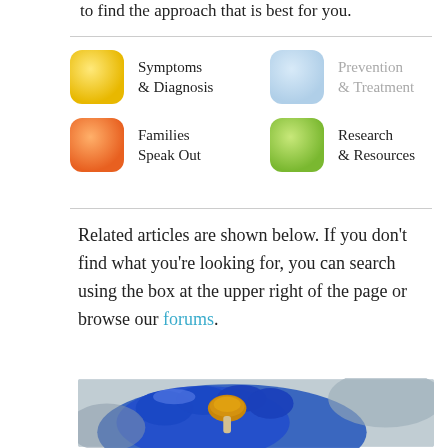to find the approach that is best for you.
[Figure (infographic): Navigation grid showing four category icons with labels: yellow icon 'Symptoms & Diagnosis', light blue icon 'Prevention & Treatment' (grayed out), orange icon 'Families Speak Out', green icon 'Research & Resources']
Related articles are shown below. If you don't find what you're looking for, you can search using the box at the upper right of the page or browse our forums.
[Figure (photo): Close-up photo of a blue-gloved hand holding a small mushroom (golden cap with pale stem) against a blurred grey laboratory background.]